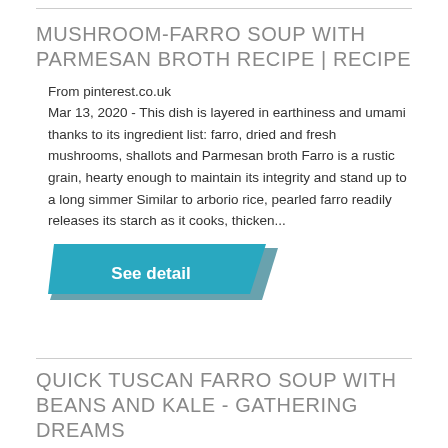MUSHROOM-FARRO SOUP WITH PARMESAN BROTH RECIPE | RECIPE
From pinterest.co.uk
Mar 13, 2020 - This dish is layered in earthiness and umami thanks to its ingredient list: farro, dried and fresh mushrooms, shallots and Parmesan broth Farro is a rustic grain, hearty enough to maintain its integrity and stand up to a long simmer Similar to arborio rice, pearled farro readily releases its starch as it cooks, thicken...
[Figure (other): Teal button with text 'See detail' and a dark parallelogram shadow]
QUICK TUSCAN FARRO SOUP WITH BEANS AND KALE - GATHERING DREAMS
From gatheringdreams.com
2022-08-22 · How To Make. Saute the aromatics: